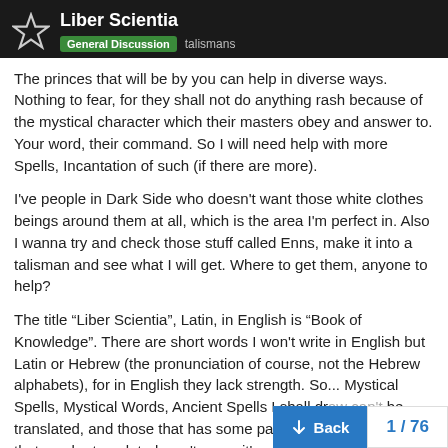Liber Scientia — General Discussion   talismans
The princes that will be by you can help in diverse ways. Nothing to fear, for they shall not do anything rash because of the mystical character which their masters obey and answer to. Your word, their command. So I will need help with more Spells, Incantation of such (if there are more).
I've people in Dark Side who doesn't want those white clothes beings around them at all, which is the area I'm perfect in. Also I wanna try and check those stuff called Enns, make it into a talisman and see what I will get. Where to get them, anyone to help?
The title “Liber Scientia”, Latin, in English is “Book of Knowledge”. There are short words I won't write in English but Latin or Hebrew (the pronunciation of course, not the Hebrew alphabets), for in English they lack strength. So... Mystical Spells, Mystical Words, Ancient Spells I shall dr... can't be translated, and those that has some part in Latin or Hebrew that can be translated won't serve it's purp... to some extent but there are some Spirits...